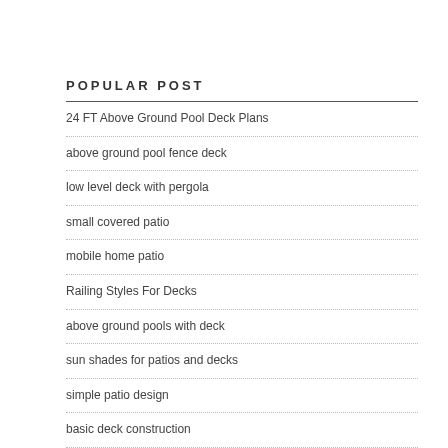POPULAR POST
24 FT Above Ground Pool Deck Plans
above ground pool fence deck
low level deck with pergola
small covered patio
mobile home patio
Railing Styles For Decks
above ground pools with deck
sun shades for patios and decks
simple patio design
basic deck construction